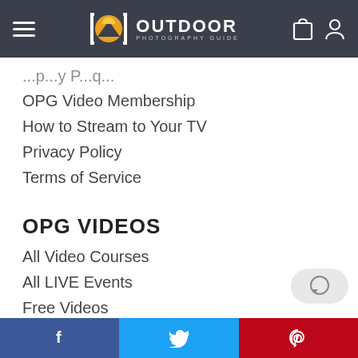[Figure (logo): Outdoor Photography Guide logo with hamburger menu, camera bracket icon with mountain/sun emblem, OUTDOOR PHOTOGRAPHY GUIDE text, shopping bag and user icons]
OPG Video Membership
How to Stream to Your TV
Privacy Policy
Terms of Service
OPG VIDEOS
All Video Courses
All LIVE Events
Free Videos
Landscape
Post-Processing
Street Photography
[Figure (infographic): Social media share bar at bottom: Facebook (blue), Twitter (light blue), Pinterest (red)]